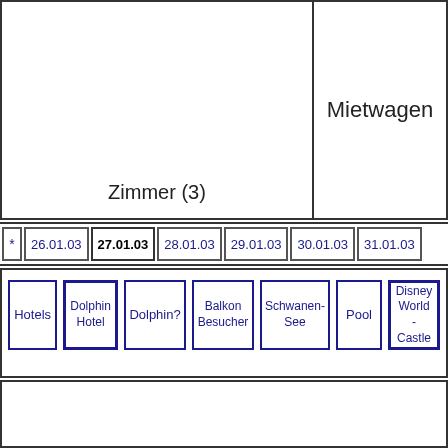Zimmer (3)
Mietwagen
* | 26.01.03 | 27.01.03 | 28.01.03 | 29.01.03 | 30.01.03 | 31.01.03
Hotels
Dolphin Hotel
Dolphin?
Balkon Besucher
Schwanen-See
Pool
Disney World - Castle